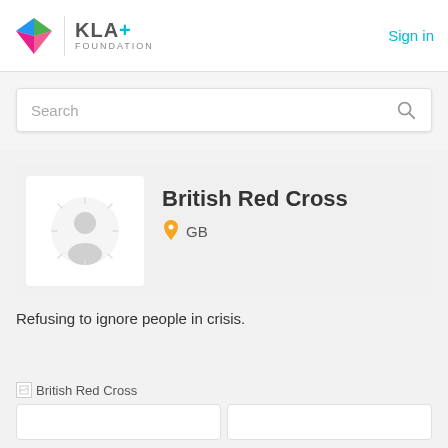[Figure (logo): KLA Foundation logo with gem/diamond icon and KLA+ text]
Sign in
Search
British Red Cross
GB
Refusing to ignore people in crisis.
British Red Cross